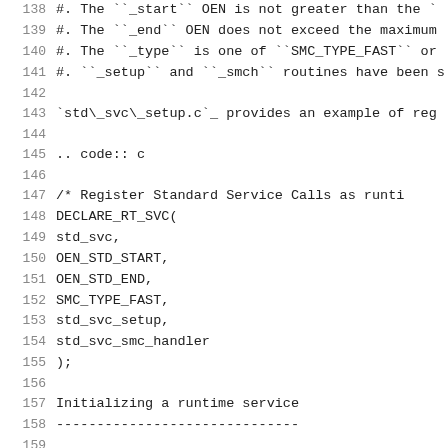138  #. The ``_start`` OEN is not greater than the `
139  #. The ``_end`` OEN does not exceed the maximum
140  #. The ``_type`` is one of ``SMC_TYPE_FAST`` or
141  #. ``_setup`` and ``_smch`` routines have been s
142
143  `std\_svc\_setup.c`_ provides an example of reg
144
145  .. code:: c
146
147      /* Register Standard Service Calls as runti
148      DECLARE_RT_SVC(
149              std_svc,
150              OEN_STD_START,
151              OEN_STD_END,
152              SMC_TYPE_FAST,
153              std_svc_setup,
154              std_svc_smc_handler
155      );
156
157  Initializing a runtime service
158  ------------------------------
159